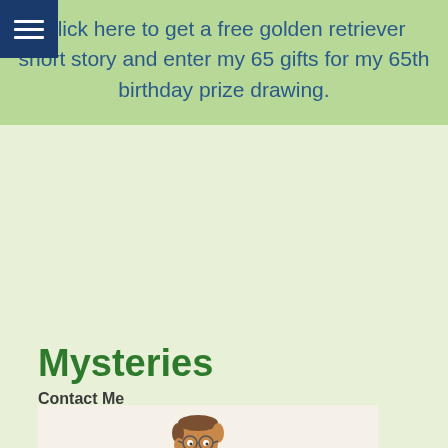Click here to get a free golden retriever short story and enter my 65 gifts for my 65th birthday prize drawing.
Mysteries
Contact Me
[Figure (illustration): Cartoon illustration of a man wearing glasses and a Hawaiian shirt, rendered in a simple animated style, against a light beige background with decorative floral patterns.]